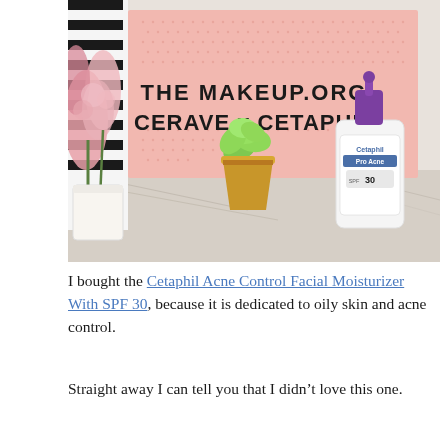[Figure (photo): Photo of a pink pegboard sign reading 'THE MAKEUP.ORG CERAVE x CETAPHIL', flanked by pink flowers on the left and a succulent in a gold pot in the center, with a Cetaphil SPF 30 facial moisturizer bottle on the right, on a marble surface.]
I bought the Cetaphil Acne Control Facial Moisturizer With SPF 30, because it is dedicated to oily skin and acne control.
Straight away I can tell you that I didn't love this one.